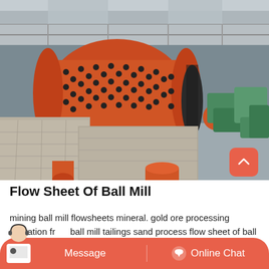[Figure (photo): Industrial ball mill machine in a warehouse/factory setting. A large orange cylindrical ball mill with black studs is the dominant feature, connected to green motor/gearbox units on the right. Concrete structures in the foreground, metal roof structure visible above. Orange pipe and drum visible in lower portion.]
Flow Sheet Of Ball Mill
mining ball mill flowsheets mineral. gold ore processing operation from ball mill tailings sand process flow sheet of ball mill draw the